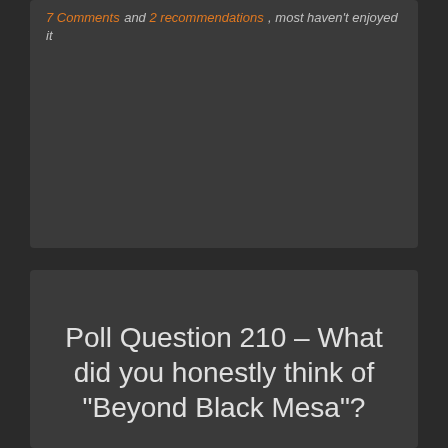7 Comments and 2 recommendations, most haven't enjoyed it
Poll Question 210 – What did you honestly think of “Beyond Black Mesa”?
[Figure (screenshot): Image placeholder for Single Player First Person Shooter Maps and Mods for Half-Life 1, 2 and Episodes 1,]